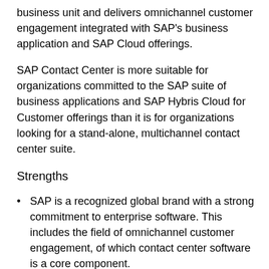business unit and delivers omnichannel customer engagement integrated with SAP's business application and SAP Cloud offerings.
SAP Contact Center is more suitable for organizations committed to the SAP suite of business applications and SAP Hybris Cloud for Customer offerings than it is for organizations looking for a stand-alone, multichannel contact center suite.
Strengths
SAP is a recognized global brand with a strong commitment to enterprise software. This includes the field of omnichannel customer engagement, of which contact center software is a core component.
Positioning its contact center platform as an element of SAP Hybris Service Engagement Center